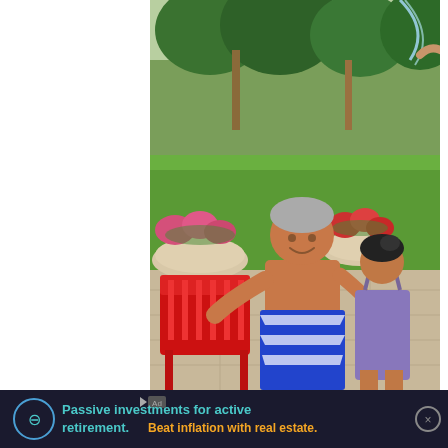[Figure (photo): Outdoor summer scene showing a boy in blue and white striped swim trunks smiling and running near a red plastic chair on a patio, with a girl in a purple swimsuit behind him, flower pots, green lawn, trees, and a water sprinkler in the background.]
[Figure (other): Advertisement banner with dark background: icon with circular logo, teal text 'Passive investments for active retirement.' and orange text 'Beat inflation with real estate.' with ad controls and close button.]